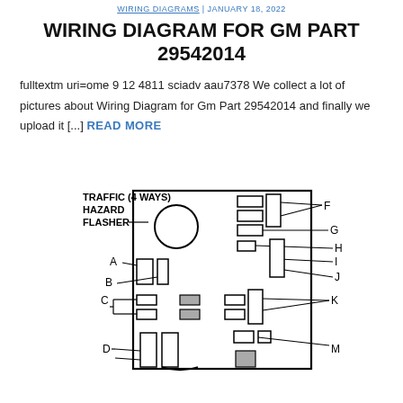WIRING DIAGRAMS | JANUARY 18, 2022
WIRING DIAGRAM FOR GM PART 29542014
fulltextm uri=ome 9 12 4811 sciadv aau7378 We collect a lot of pictures about Wiring Diagram for Gm Part 29542014 and finally we upload it [...] READ MORE
[Figure (engineering-diagram): Wiring diagram schematic for GM Part 29542014 showing a fuse/relay block with labeled components: TRAFFIC HAZARD FLASHER (4 WAYS) at top, and connector pins labeled A through M on the sides of the block.]